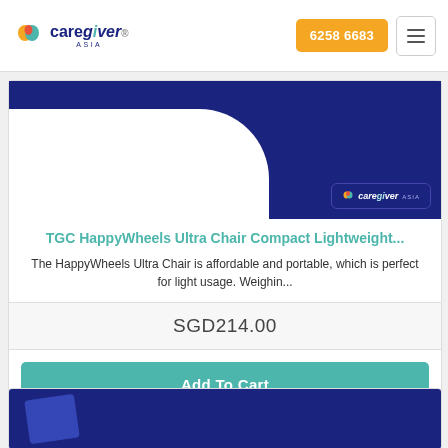[Figure (logo): CareGiver Asia logo with orange and teal heart icon]
6258 6683
[Figure (photo): Product image with dark blue background and CareGiver Asia badge]
TGC HappyWheels Ultra Chair Compact Lightweight...
The HappyWheels Ultra Chair is affordable and portable, which is perfect for light usage. Weighin...
SGD214.00
Add To Cart
[Figure (photo): Second product image partial view with dark blue background]